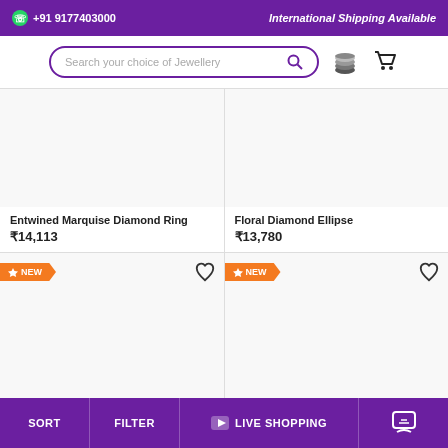+91 9177403000  |  International Shipping Available
[Figure (screenshot): Search bar with placeholder 'Search your choice of Jewellery', coin stack icon, and shopping cart icon]
Entwined Marquise Diamond Ring
₹14,113
Floral Diamond Ellipse
₹13,780
[Figure (photo): Product card with NEW badge and heart icon - lower left product]
[Figure (photo): Product card with NEW badge and heart icon - lower right product]
SORT  |  FILTER  |  ▶ LIVE SHOPPING  |  chat icon